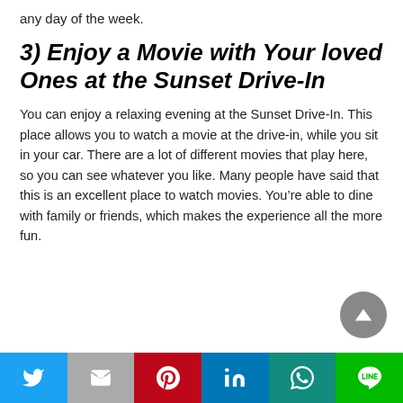any day of the week.
3) Enjoy a Movie with Your loved Ones at the Sunset Drive-In
You can enjoy a relaxing evening at the Sunset Drive-In. This place allows you to watch a movie at the drive-in, while you sit in your car. There are a lot of different movies that play here, so you can see whatever you like. Many people have said that this is an excellent place to watch movies. You’re able to dine with family or friends, which makes the experience all the more fun.
Share buttons: Twitter, Gmail, Pinterest, LinkedIn, WhatsApp, LINE